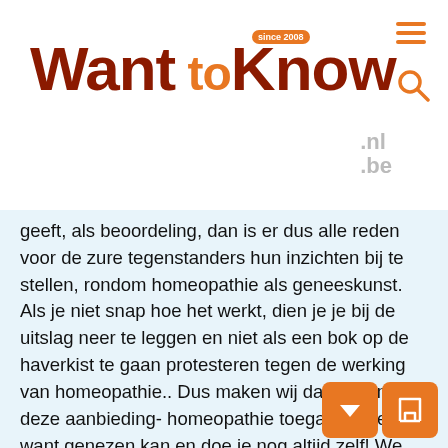WantToKnow.nl .be — since 2008
geeft, als beoordeling, dan is er dus alle reden voor de zure tegenstanders hun inzichten bij te stellen, rondom homeopathie als geneeskunst. Als je niet snap hoe het werkt, dien je je bij de uitslag neer te leggen en niet als een bok op de haverkist te gaan protesteren tegen de werking van homeopathie.. Dus maken wij daarom -met deze aanbieding- homeopathie toegankelijker, want genezen kan en doe je nog altijd zelf! We zetten in deze aanbieding ook de geschiedenis van de homeopathische leer op een rij en lees hoe je zelf met die wijsheid aan de slag kunt. Zo heb je altijd een holistisch steuntje bij de hand! Bijvoorbeeld in de praktijk, op kantoor, in de klas of op vakantie? Lees snel verder.